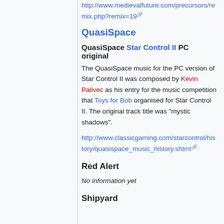http://www.medievalfuture.com/precursors/remix.php?remix=19
QuasiSpace
QuasiSpace Star Control II PC original
The QuasiSpace music for the PC version of Star Control II was composed by Kevin Palivec as his entry for the music competition that Toys for Bob organised for Star Control II. The original track title was "mystic shadows".
http://www.classicgaming.com/starcontrol/history/quasispace_music_history.shtml
Red Alert
No information yet
Shipyard